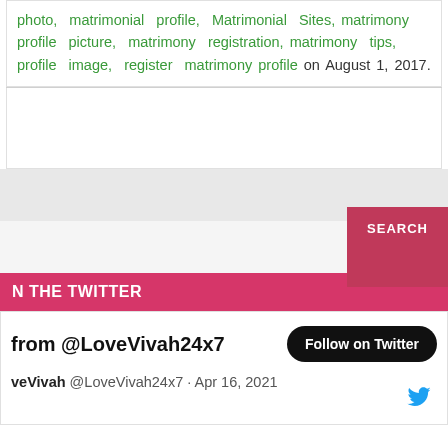photo, matrimonial profile, Matrimonial Sites, matrimony profile picture, matrimony registration, matrimony tips, profile image, register matrimony profile on August 1, 2017.
N THE TWITTER
from @LoveVivah24x7
veVivah @LoveVivah24x7 · Apr 16, 2021